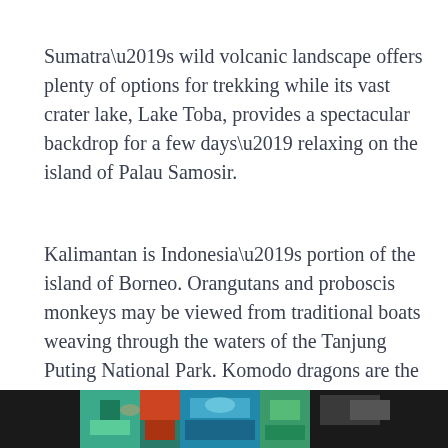Sumatra’s wild volcanic landscape offers plenty of options for trekking while its vast crater lake, Lake Toba, provides a spectacular backdrop for a few days’ relaxing on the island of Palau Samosir.
Kalimantan is Indonesia’s portion of the island of Borneo. Orangutans and proboscis monkeys may be viewed from traditional boats weaving through the waters of the Tanjung Puting National Park. Komodo dragons are the stars on Komodo and Rinca, two of the very few islands where these massive lizards live in the wild.
[Figure (photo): Partial image of colorful traditional masks or decorative artwork with teal, green, and red tones visible at the bottom of the page.]